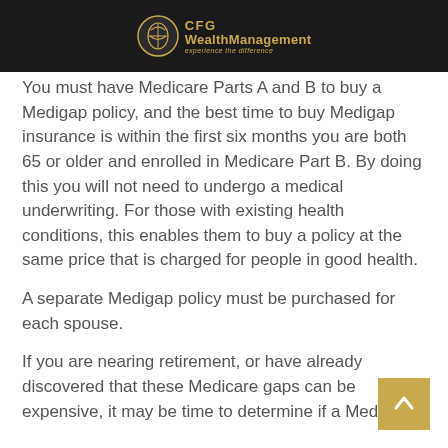CFG WealthManagement – experience the difference
You must have Medicare Parts A and B to buy a Medigap policy, and the best time to buy Medigap insurance is within the first six months you are both 65 or older and enrolled in Medicare Part B. By doing this you will not need to undergo a medical underwriting. For those with existing health conditions, this enables them to buy a policy at the same price that is charged for people in good health.
A separate Medigap policy must be purchased for each spouse.
If you are nearing retirement, or have already discovered that these Medicare gaps can be expensive, it may be time to determine if a Medigap